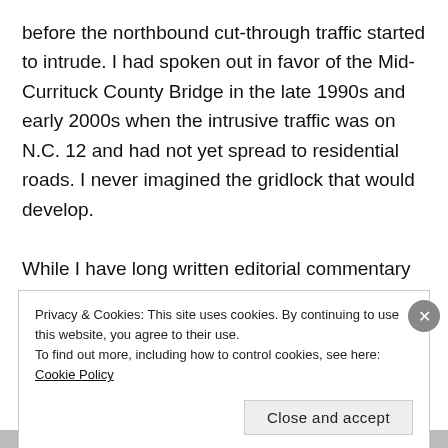before the northbound cut-through traffic started to intrude. I had spoken out in favor of the Mid-Currituck County Bridge in the late 1990s and early 2000s when the intrusive traffic was on N.C. 12 and had not yet spread to residential roads. I never imagined the gridlock that would develop.

While I have long written editorial commentary—sometimes relying upon my legal knowledge—I did not become involved in Southern Shores politics
Privacy & Cookies: This site uses cookies. By continuing to use this website, you agree to their use.
To find out more, including how to control cookies, see here: Cookie Policy
Close and accept